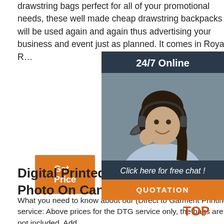drawstring bags perfect for all of your promotional needs, these well made cheap drawstring backpacks will be used again and again thus advertising your business and event just as planned. It comes in Royal, R…
[Figure (other): Orange 'Get Price' button]
[Figure (other): 24/7 Online chat overlay panel with photo of woman wearing headset, 'Click here for free chat!' text, and orange QUOTATION button]
Digital Printed Tote Bags, Print Photo On Canvas Tote Bag ...
What you need to know about our (Direct to Garment Printing) service: Above prices for the DTG service only, the bags are not included. Add
[Figure (other): Orange TOP badge/icon in bottom right area]